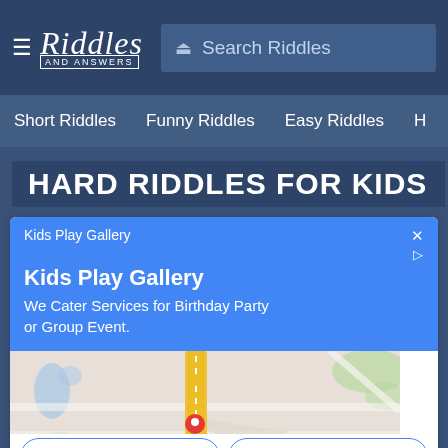≡ Riddles AND ANSWERS   Search Riddles
Short Riddles   Funny Riddles   Easy Riddles   H
HARD RIDDLES FOR KIDS
[Figure (screenshot): Google Maps ad card for 'Kids Play Gallery' with blue info box showing title, description 'We Cater Services for Birthday Party or Group Event.', a map with a red location pin, and Call / Directions buttons at the bottom.]